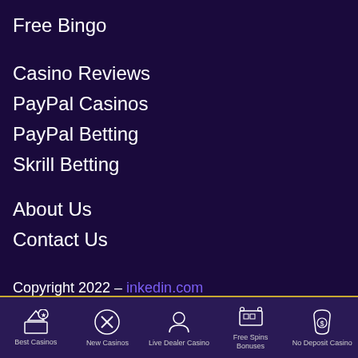Free Bingo
Casino Reviews
PayPal Casinos
PayPal Betting
Skrill Betting
About Us
Contact Us
Copyright 2022 – inkedin.com
DISCLAIMER - All promotional codes or free bet offers, welcome bonuses and promotions that are
Best Casinos | New Casinos | Live Dealer Casino | Free Spins Bonuses | No Deposit Casino